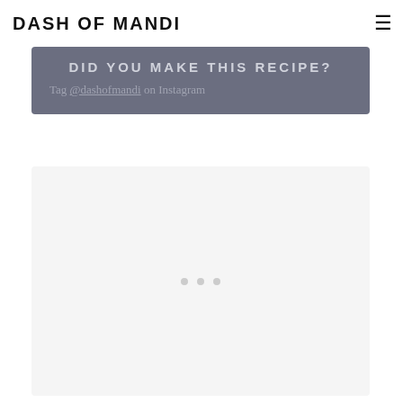DASH OF MANDI
DID YOU MAKE THIS RECIPE?
Tag @dashofmandi on Instagram
[Figure (other): Light gray placeholder advertisement box with three small dots centered near the bottom]